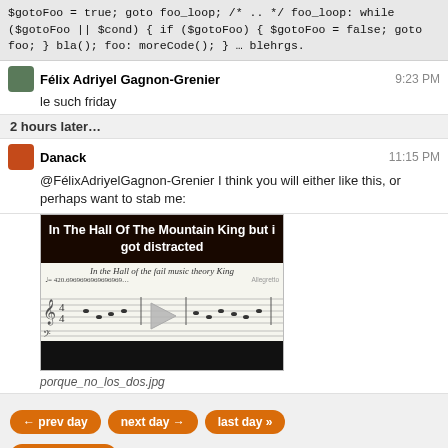$gotoFoo = true; goto foo_loop; /* .. */ foo_loop: while ($gotoFoo || $cond) { if ($gotoFoo) { $gotoFoo = false; goto foo; } bla(); foo: moreCode(); } … blehrgs.
Félix Adriyel Gagnon-Grenier  9:23 PM
le such friday
2 hours later…
Danack  11:15 PM
@FélixAdriyel Gagnon-Grenier I think you will either like this, or perhaps want to stab me:
[Figure (screenshot): Embedded video thumbnail showing sheet music titled 'In the Hall of the fail music theory King' with play button overlay. Top bar reads 'In The Hall Of The Mountain King but i got distracted' in white text on black background.]
porque_no_los_dos.jpg
← prev day   next day →   last day »
join this room